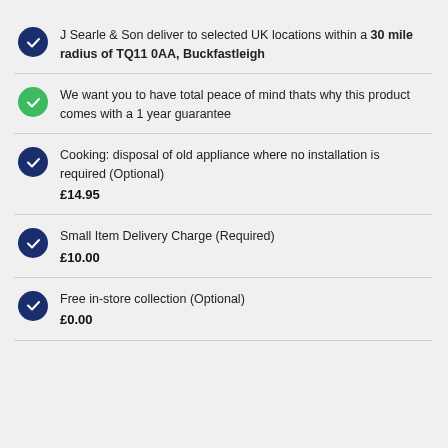J Searle & Son deliver to selected UK locations within a 30 mile radius of TQ11 0AA, Buckfastleigh
We want you to have total peace of mind thats why this product comes with a 1 year guarantee
Cooking: disposal of old appliance where no installation is required (Optional) £14.95
Small Item Delivery Charge (Required) £10.00
Free in-store collection (Optional) £0.00